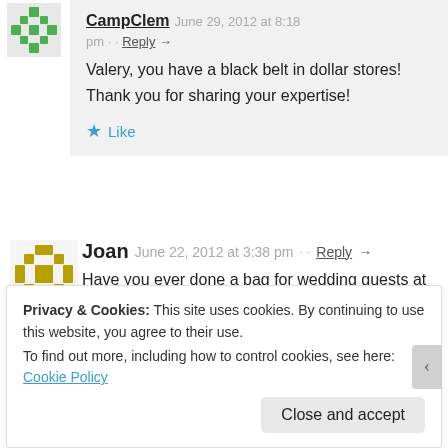CampClem · June 29, 2012 at 8:18 pm · · Reply →
Valery, you have a black belt in dollar stores! Thank you for sharing your expertise!
★ Like
Joan · June 22, 2012 at 3:38 pm · · Reply →
Have you ever done a bag for wedding guests at the hotel and what did you use?
Privacy & Cookies: This site uses cookies. By continuing to use this website, you agree to their use.
To find out more, including how to control cookies, see here: Cookie Policy